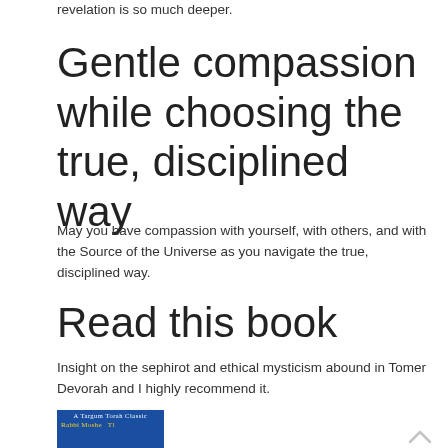revelation is so much deeper.
Gentle compassion while choosing the true, disciplined way
May you have compassion with yourself, with others, and with the Source of the Universe as you navigate the true, disciplined way.
Read this book
Insight on the sephirot and ethical mysticism abound in Tomer Devorah and I highly recommend it.
[Figure (photo): Book cover of Tomer Devorah - A Targum Torah Classic by Rabbi Moshe, blue cover with yellow text]